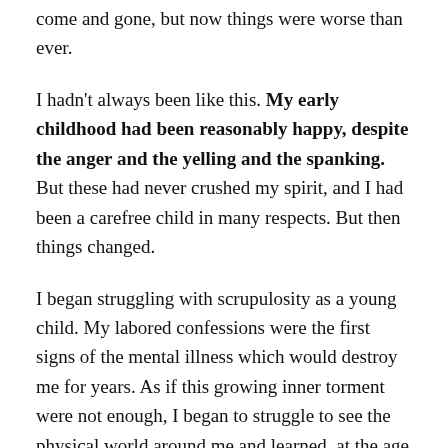come and gone, but now things were worse than ever.
I hadn't always been like this. My early childhood had been reasonably happy, despite the anger and the yelling and the spanking. But these had never crushed my spirit, and I had been a carefree child in many respects. But then things changed.
I began struggling with scrupulosity as a young child. My labored confessions were the first signs of the mental illness which would destroy me for years. As if this growing inner torment were not enough, I began to struggle to see the physical world around me and learned, at the age of 8, that I would one day be legally blind because of an incurable retinal disease.
It became increasingly clear to me that for some...